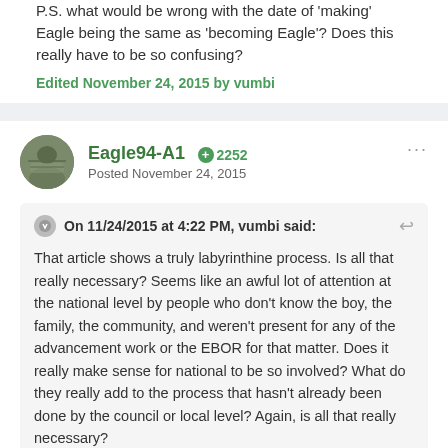P.S. what would be wrong with the date of 'making' Eagle being the same as 'becoming Eagle'? Does this really have to be so confusing?
Edited November 24, 2015 by vumbi
Eagle94-A1  +2252
Posted November 24, 2015
On 11/24/2015 at 4:22 PM, vumbi said:
That article shows a truly labyrinthine process. Is all that really necessary? Seems like an awful lot of attention at the national level by people who don't know the boy, the family, the community, and weren't present for any of the advancement work or the EBOR for that matter. Does it really make sense for national to be so involved? What do they really add to the process that hasn't already been done by the council or local level? Again, is all that really necessary?